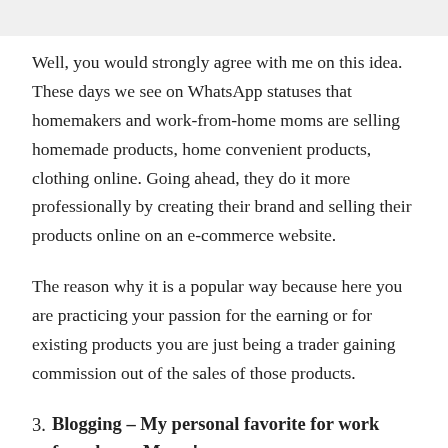Well, you would strongly agree with me on this idea. These days we see on WhatsApp statuses that homemakers and work-from-home moms are selling homemade products, home convenient products, clothing online. Going ahead, they do it more professionally by creating their brand and selling their products online on an e-commerce website.
The reason why it is a popular way because here you are practicing your passion for the earning or for existing products you are just being a trader gaining commission out of the sales of those products.
3. Blogging – My personal favorite for work from home Moms!
Blogging is a favorite item and Today the majority of the bl...